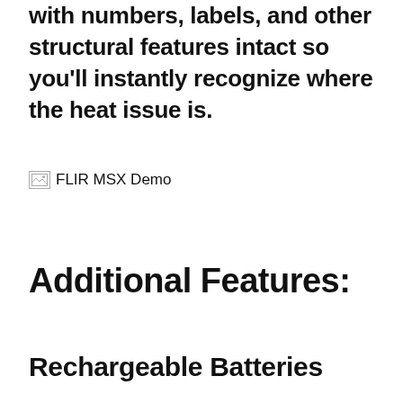with numbers, labels, and other structural features intact so you'll instantly recognize where the heat issue is.
[Figure (photo): FLIR MSX Demo - broken/missing image placeholder with label text]
Additional Features:
Rechargeable Batteries